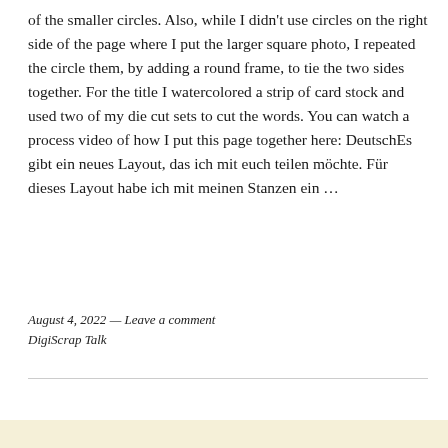of the smaller circles. Also, while I didn't use circles on the right side of the page where I put the larger square photo, I repeated the circle them, by adding a round frame, to tie the two sides together. For the title I watercolored a strip of card stock and used two of my die cut sets to cut the words. You can watch a process video of how I put this page together here: DeutschEs gibt ein neues Layout, das ich mit euch teilen möchte. Für dieses Layout habe ich mit meinen Stanzen ein …
August 4, 2022 — Leave a comment
DigiScrap Talk